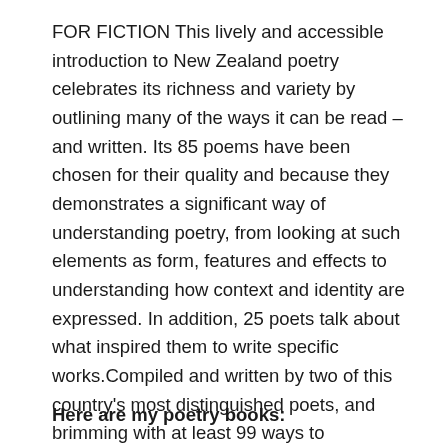FOR FICTION This lively and accessible introduction to New Zealand poetry celebrates its richness and variety by outlining many of the ways it can be read – and written. Its 85 poems have been chosen for their quality and because they demonstrates a significant way of understanding poetry, from looking at such elements as form, features and effects to understanding how context and identity are expressed. In addition, 25 poets talk about what inspired them to write specific works.Compiled and written by two of this country's most distinguished poets, and brimming with at least 99 ways to appreciate poetry, it invites you to bring the 100th: your own unique take.'  Random House Website
Here are my poetry books: